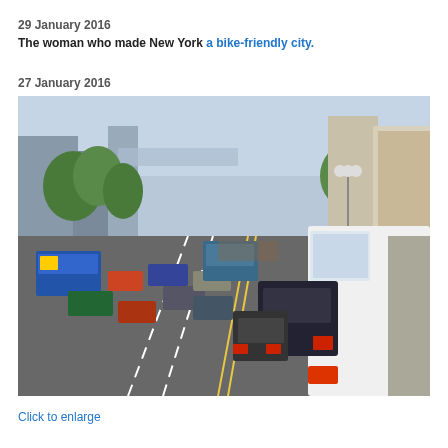29 January 2016
The woman who made New York a bike-friendly city.
27 January 2016
[Figure (photo): A busy urban street scene showing heavy traffic with cars, buses, and vans on a wide city road lined with trees and commercial buildings. The scene appears to be a downtown area of a North American city with multiple lanes of traffic and street lights.]
Click to enlarge